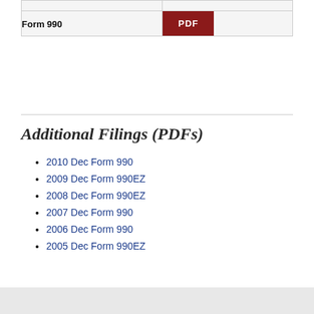|  |  |
| --- | --- |
|  |  |
| Form 990 | PDF |
Additional Filings (PDFs)
2010 Dec Form 990
2009 Dec Form 990EZ
2008 Dec Form 990EZ
2007 Dec Form 990
2006 Dec Form 990
2005 Dec Form 990EZ